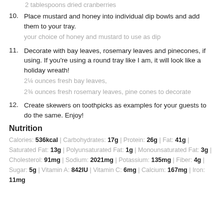2 tablespoons dried cranberries
10. Place mustard and honey into individual dip bowls and add them to your tray.
your choice of honey and mustard to use as dip
11. Decorate with bay leaves, rosemary leaves and pinecones, if using. If you're using a round tray like I am, it will look like a holiday wreath!
2¼ ounces fresh bay leaves,
2¾ ounces fresh rosemary leaves, pine cones to decorate
12. Create skewers on toothpicks as examples for your guests to do the same. Enjoy!
Nutrition
Calories: 536kcal | Carbohydrates: 17g | Protein: 26g | Fat: 41g | Saturated Fat: 13g | Polyunsaturated Fat: 1g | Monounsaturated Fat: 3g | Cholesterol: 91mg | Sodium: 2021mg | Potassium: 135mg | Fiber: 4g | Sugar: 5g | Vitamin A: 842IU | Vitamin C: 6mg | Calcium: 167mg | Iron: 11mg